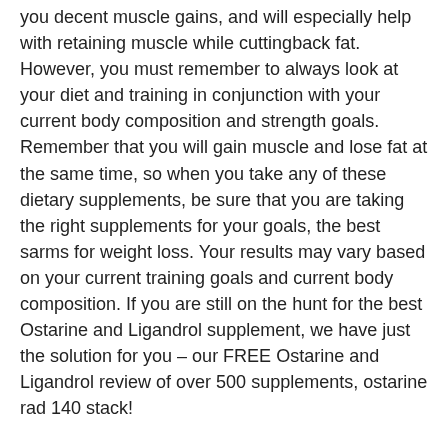you decent muscle gains, and will especially help with retaining muscle while cuttingback fat. However, you must remember to always look at your diet and training in conjunction with your current body composition and strength goals. Remember that you will gain muscle and lose fat at the same time, so when you take any of these dietary supplements, be sure that you are taking the right supplements for your goals, the best sarms for weight loss. Your results may vary based on your current training goals and current body composition. If you are still on the hunt for the best Ostarine and Ligandrol supplement, we have just the solution for you – our FREE Ostarine and Ligandrol review of over 500 supplements, ostarine rad 140 stack!
What Ostarine and Ligandrol Supplements Do You Use?